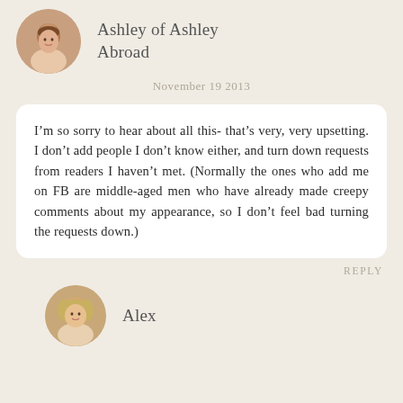[Figure (photo): Circular avatar photo of a young woman with dark hair, smiling]
Ashley of Ashley Abroad
November 19 2013
I’m so sorry to hear about all this- that’s very, very upsetting. I don’t add people I don’t know either, and turn down requests from readers I haven’t met. (Normally the ones who add me on FB are middle-aged men who have already made creepy comments about my appearance, so I don’t feel bad turning the requests down.)
REPLY
[Figure (photo): Circular avatar photo of a woman with blonde hair]
Alex